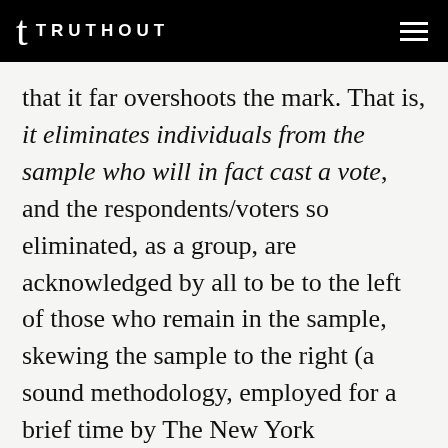TRUTHOUT
that it far overshoots the mark. That is, it eliminates individuals from the sample who will in fact cast a vote, and the respondents/voters so eliminated, as a group, are acknowledged by all to be to the left of those who remain in the sample, skewing the sample to the right (a sound methodology, employed for a brief time by The New York Times/CBS poll, would solve the participation problem by down-weighting, but not eliminating, the responses of interviewees less likely to vote). So the LVCM –